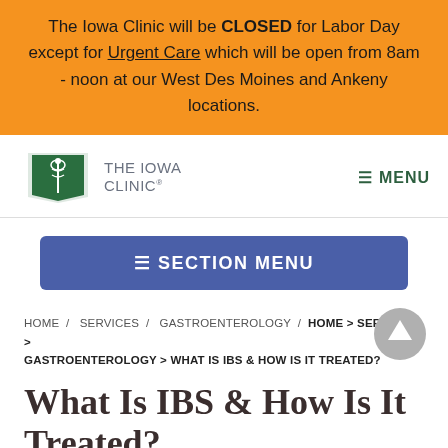The Iowa Clinic will be CLOSED for Labor Day except for Urgent Care which will be open from 8am - noon at our West Des Moines and Ankeny locations.
[Figure (logo): The Iowa Clinic logo with green Iowa state shape and caduceus symbol]
≡ MENU
≡ SECTION MENU
HOME / SERVICES / GASTROENTEROLOGY / HOME > SERVICES > GASTROENTEROLOGY > WHAT IS IBS & HOW IS IT TREATED?
What Is IBS & How Is It Treated?